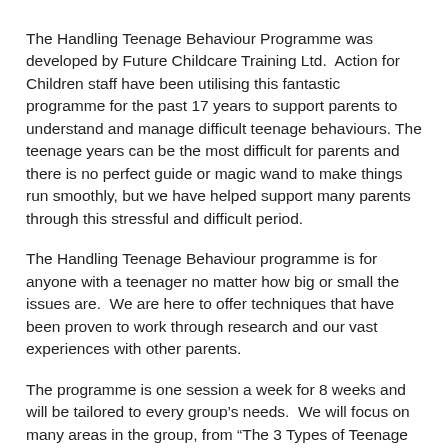The Handling Teenage Behaviour Programme was developed by Future Childcare Training Ltd.  Action for Children staff have been utilising this fantastic programme for the past 17 years to support parents to understand and manage difficult teenage behaviours. The teenage years can be the most difficult for parents and there is no perfect guide or magic wand to make things run smoothly, but we have helped support many parents through this stressful and difficult period.
The Handling Teenage Behaviour programme is for anyone with a teenager no matter how big or small the issues are.  We are here to offer techniques that have been proven to work through research and our vast experiences with other parents.
The programme is one session a week for 8 weeks and will be tailored to every group's needs.  We will focus on many areas in the group, from "The 3 Types of Teenage Behaviour" to "The effect media has on family life".
All Action for Children facilitators have been trained In the Handling Teenage Behaviour Programme and we have had great success running the